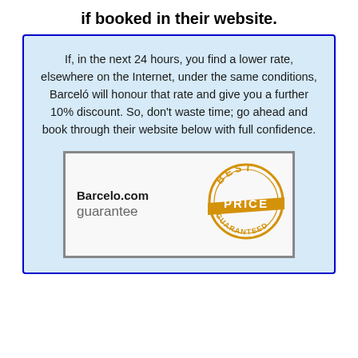if booked in their website.
If, in the next 24 hours, you find a lower rate, elsewhere on the Internet, under the same conditions, Barceló will honour that rate and give you a further 10% discount. So, don't waste time; go ahead and book through their website below with full confidence.
[Figure (logo): Barcelo.com guarantee badge with 'Best Price Guaranteed' stamp in orange/gold]